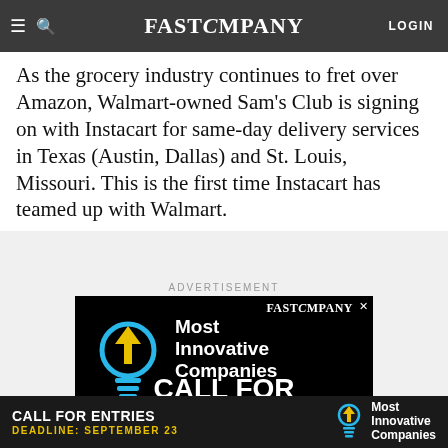FAST COMPANY  LOGIN
As the grocery industry continues to fret over Amazon, Walmart-owned Sam's Club is signing on with Instacart for same-day delivery services in Texas (Austin, Dallas) and St. Louis, Missouri. This is the first time Instacart has teamed up with Walmart.
ADVERTISEMENT
[Figure (illustration): Fast Company advertisement for Most Innovative Companies Call for Entries, featuring a light bulb icon with an upward arrow, on a black background. Text reads: Most Innovative Companies, CALL FOR ENTRIES.]
CALL FOR ENTRIES  Most Innovative Companies  DEADLINE: SEPTEMBER 23